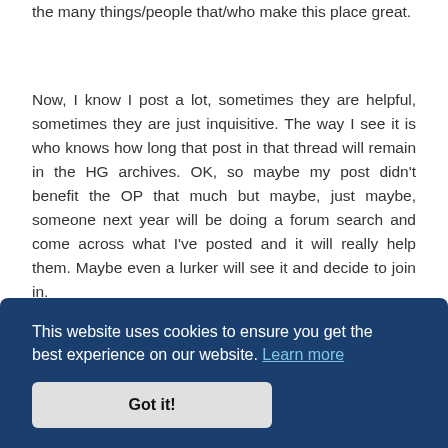the many things/people that/who make this place great.
Now, I know I post a lot, sometimes they are helpful, sometimes they are just inquisitive. The way I see it is who knows how long that post in that thread will remain in the HG archives. OK, so maybe my post didn't benefit the OP that much but maybe, just maybe, someone next year will be doing a forum search and come across what I've posted and it will really help them. Maybe even a lurker will see it and decide to join in.
" on that thing nced
This website uses cookies to ensure you get the best experience on our website. Learn more
Got it!